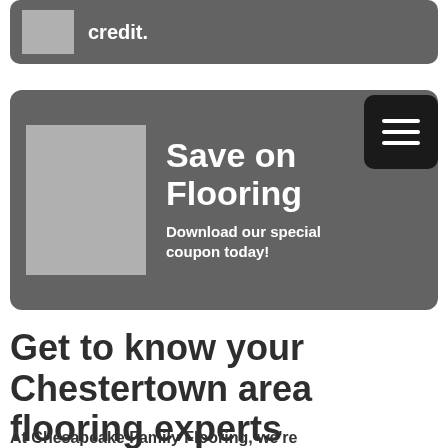[Figure (illustration): Dark gray rounded card with a gray placeholder image on the left and partial text 'credit.' on the right in white bold font]
[Figure (illustration): Dark gray rounded card with a gray placeholder image and text 'Save on Flooring' as a large white bold title, followed by 'Download our special coupon today!' in smaller white bold text. A black square menu icon with three horizontal lines appears overlapping the top-right corner of the card.]
Get to know your Chestertown area flooring experts
At Chesapeake Family Flooring, we're